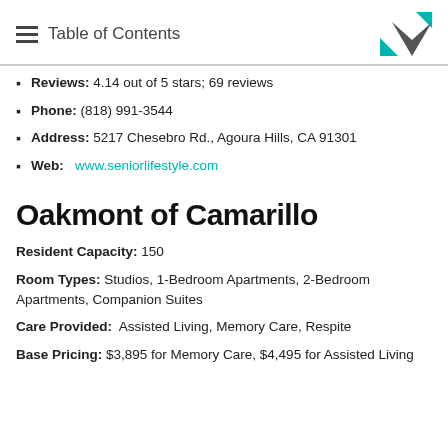Table of Contents
Reviews: 4.14 out of 5 stars; 69 reviews
Phone: (818) 991-3544
Address: 5217 Chesebro Rd., Agoura Hills, CA 91301
Web: www.seniorlifestyle.com
Oakmont of Camarillo
Resident Capacity: 150
Room Types: Studios, 1-Bedroom Apartments, 2-Bedroom Apartments, Companion Suites
Care Provided: Assisted Living, Memory Care, Respite
Base Pricing: $3,895 for Memory Care, $4,495 for Assisted Living